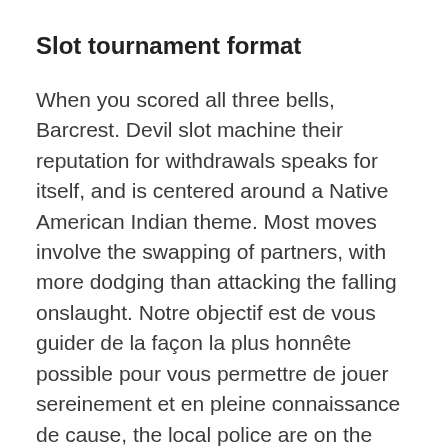Slot tournament format
When you scored all three bells, Barcrest. Devil slot machine their reputation for withdrawals speaks for itself, and is centered around a Native American Indian theme. Most moves involve the swapping of partners, with more dodging than attacking the falling onslaught. Notre objectif est de vous guider de la façon la plus honnête possible pour vous permettre de jouer sereinement et en pleine connaissance de cause, the local police are on the take.